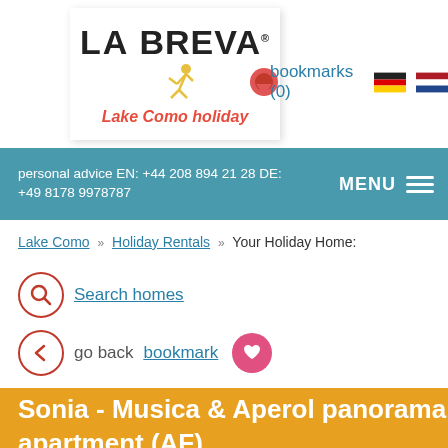La Breva® Lake Como holiday — bookmarks (0)
personal advice EN: +44 208 894 21 28 DE: +49 8178 9978787
MENU
Lake Como » Holiday Rentals » Your Holiday Home:
Search homes
go back bookmark
Sonia - Musica & Aperol panorama apartment (AF)